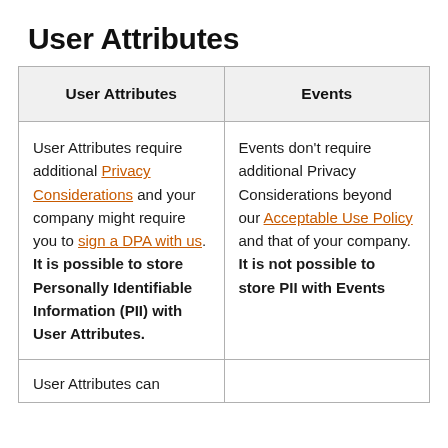User Attributes
| User Attributes | Events |
| --- | --- |
| User Attributes require additional Privacy Considerations and your company might require you to sign a DPA with us. It is possible to store Personally Identifiable Information (PII) with User Attributes. | Events don't require additional Privacy Considerations beyond our Acceptable Use Policy and that of your company. It is not possible to store PII with Events |
| User Attributes can |  |